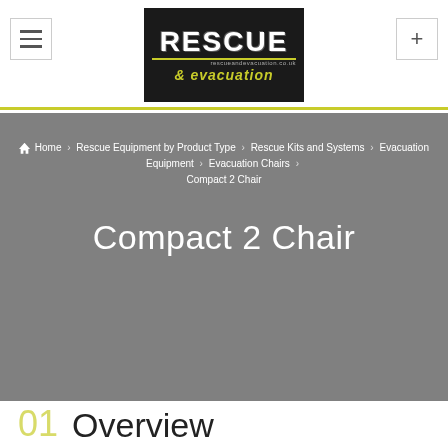[Figure (logo): Rescue & evacuation logo with black background, yellow underline, and yellow italic text]
Home > Rescue Equipment by Product Type > Rescue Kits and Systems > Evacuation Equipment > Evacuation Chairs > Compact 2 Chair
Compact 2 Chair
01  Overview